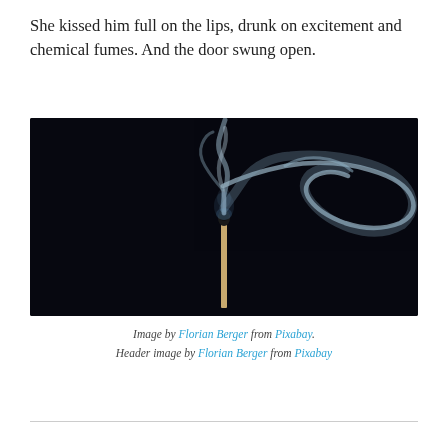She kissed him full on the lips, drunk on excitement and chemical fumes. And the door swung open.
[Figure (photo): Close-up photograph of a burnt match stick with dramatic white-blue smoke curling upward against a pure black background.]
Image by Florian Berger from Pixabay.
Header image by Florian Berger from Pixabay